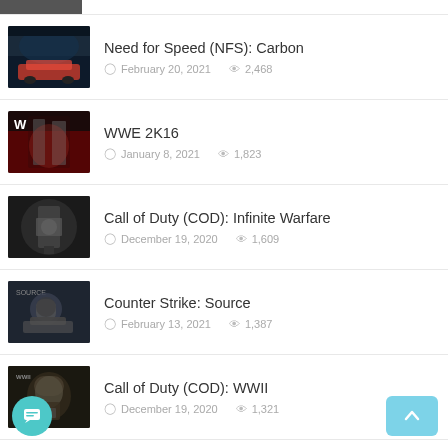Need for Speed (NFS): Carbon | February 20, 2021 | 2,468 views
WWE 2K16 | January 8, 2021 | 1,823 views
Call of Duty (COD): Infinite Warfare | December 19, 2020 | 1,609 views
Counter Strike: Source | February 13, 2021 | 1,387 views
Call of Duty (COD): WWII | December 19, 2020 | 1,321 views
NBA 2K20